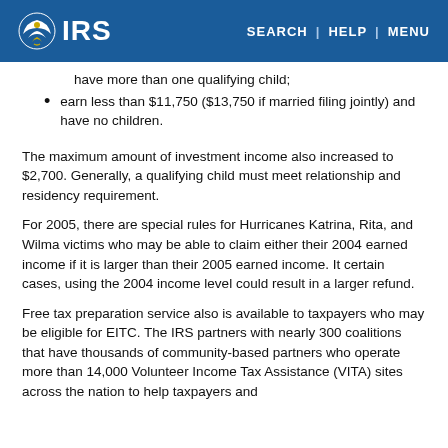IRS | SEARCH | HELP | MENU
have more than one qualifying child;
earn less than $11,750 ($13,750 if married filing jointly) and have no children.
The maximum amount of investment income also increased to $2,700. Generally, a qualifying child must meet relationship and residency requirement.
For 2005, there are special rules for Hurricanes Katrina, Rita, and Wilma victims who may be able to claim either their 2004 earned income if it is larger than their 2005 earned income. It certain cases, using the 2004 income level could result in a larger refund.
Free tax preparation service also is available to taxpayers who may be eligible for EITC. The IRS partners with nearly 300 coalitions that have thousands of community-based partners who operate more than 14,000 Volunteer Income Tax Assistance (VITA) sites across the nation to help taxpayers and